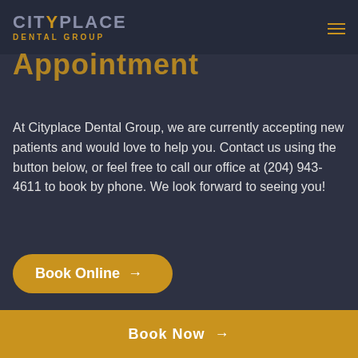[Figure (logo): CityPlace Dental Group logo with hamburger menu icon]
Appointment
At Cityplace Dental Group, we are currently accepting new patients and would love to help you. Contact us using the button below, or feel free to call our office at (204) 943-4611 to book by phone. We look forward to seeing you!
Book Online →
Book Now →